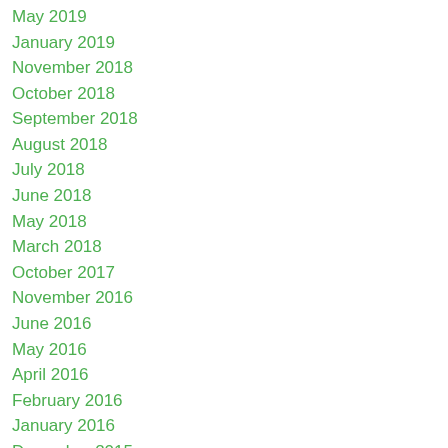May 2019
January 2019
November 2018
October 2018
September 2018
August 2018
July 2018
June 2018
May 2018
March 2018
October 2017
November 2016
June 2016
May 2016
April 2016
February 2016
January 2016
December 2015
November 2015
May 2015
March 2015